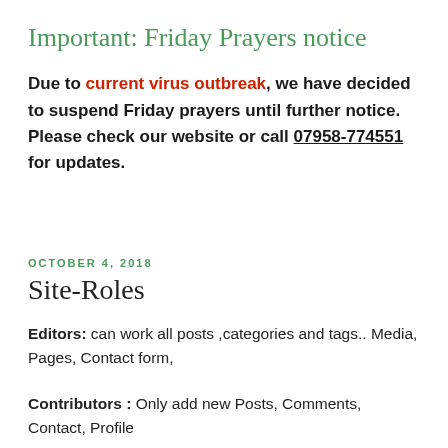Important: Friday Prayers notice
Due to current virus outbreak, we have decided to suspend Friday prayers until further notice. Please check our website or call 07958-774551 for updates.
OCTOBER 4, 2018
Site-Roles
Editors: can work all posts ,categories and tags.. Media, Pages, Contact form,
Contributors : Only add new Posts, Comments, Contact, Profile